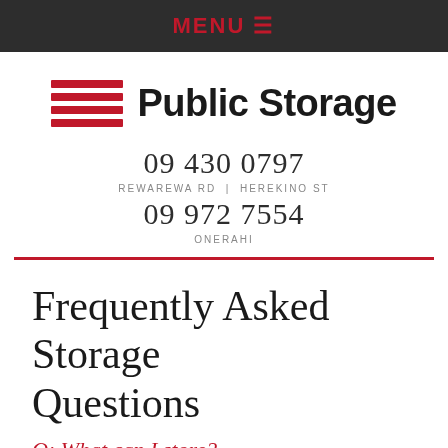MENU ☰
[Figure (logo): Public Storage logo with red horizontal stripes and bold black text]
09 430 0797
REWAREWA RD  |  HEREKINO ST
09 972 7554
ONERAHI
Frequently Asked Storage Questions
Q: What can I store?